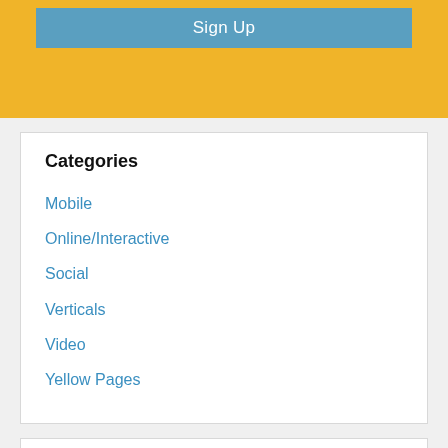[Figure (other): Sign Up button on a yellow/gold banner background]
Categories
Mobile
Online/Interactive
Social
Verticals
Video
Yellow Pages
Authors
Suzanne Ackley
Thomas Buono